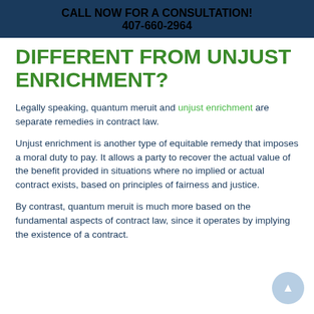CALL NOW FOR A CONSULTATION!
407-660-2964
DIFFERENT FROM UNJUST ENRICHMENT?
Legally speaking, quantum meruit and unjust enrichment are separate remedies in contract law.
Unjust enrichment is another type of equitable remedy that imposes a moral duty to pay. It allows a party to recover the actual value of the benefit provided in situations where no implied or actual contract exists, based on principles of fairness and justice.
By contrast, quantum meruit is much more based on the fundamental aspects of contract law, since it operates by implying the existence of a contract.